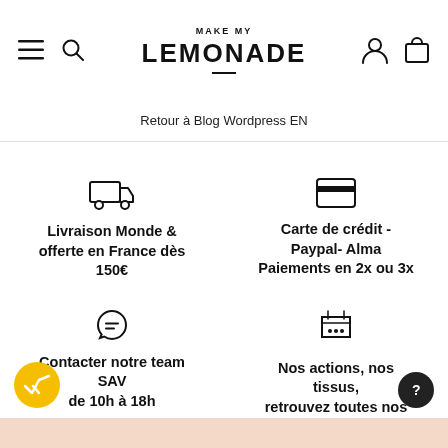MAKE MY LEMONADE
Retour à Blog Wordpress EN
Livraison Monde & offerte en France dès 150€
Carte de crédit - Paypal- Alma Paiements en 2x ou 3x
Contacter notre team SAV de 10h à 18h
Nos actions, nos tissus, retrouvez toutes nos infos ici